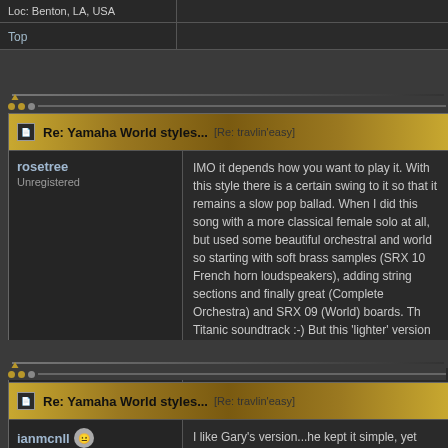Loc: Benton, LA, USA
Top
Re: Yamaha World styles... [Re: travlin'easy]
rosetree
Unregistered
IMO it depends how you want to play it. With this style there is a certain swing to it so that it remains a slow pop ballad. When I did this song with a more classical female solo at all, but used some beautiful orchestral and world so starting with soft brass samples (SRX 10 French horn loudspeakers), adding string sections and finally great (Complete Orchestra) and SRX 09 (World) boards. Th Titanic soundtrack :-) But this 'lighter' version is very e choice depending on how the audience feels.
Edited by rosetree (11/14/13 01:51 PM)
Top
Re: Yamaha World styles... [Re: travlin'easy]
ianmcnll
Senior Member
I like Gary's version...he kept it simple, yet effective. T style in my Tyros4, and it seems to be in 4/4 whereas